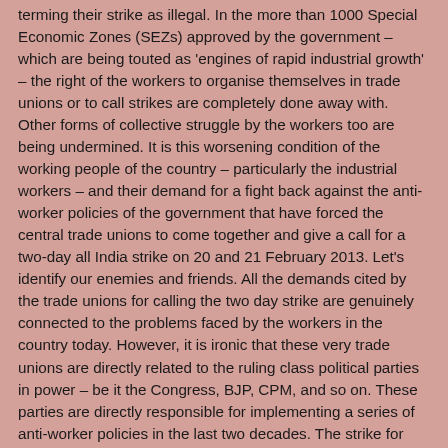terming their strike as illegal. In the more than 1000 Special Economic Zones (SEZs) approved by the government – which are being touted as 'engines of rapid industrial growth' – the right of the workers to organise themselves in trade unions or to call strikes are completely done away with. Other forms of collective struggle by the workers too are being undermined. It is this worsening condition of the working people of the country – particularly the industrial workers – and their demand for a fight back against the anti-worker policies of the government that have forced the central trade unions to come together and give a call for a two-day all India strike on 20 and 21 February 2013. Let's identify our enemies and friends. All the demands cited by the trade unions for calling the two day strike are genuinely connected to the problems faced by the workers in the country today. However, it is ironic that these very trade unions are directly related to the ruling class political parties in power – be it the Congress, BJP, CPM, and so on. These parties are directly responsible for implementing a series of anti-worker policies in the last two decades. The strike for them is mere tokenism and a calculated move to befool the workers in the name of struggle. As it is necessary to fight the ruling classes and their